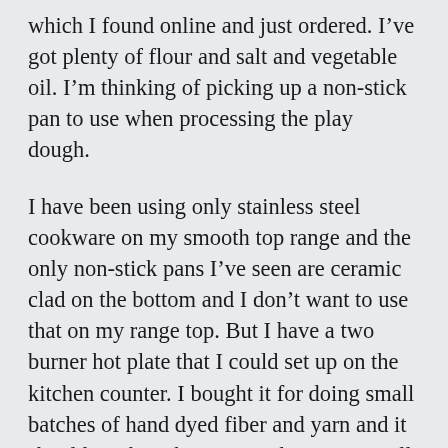which I found online and just ordered. I've got plenty of flour and salt and vegetable oil. I'm thinking of picking up a non-stick pan to use when processing the play dough.
I have been using only stainless steel cookware on my smooth top range and the only non-stick pans I've seen are ceramic clad on the bottom and I don't want to use that on my range top. But I have a two burner hot plate that I could set up on the kitchen counter. I bought it for doing small batches of hand dyed fiber and yarn and it should work with a non-stick pan. Now all I need is a pan and I can stop by Walmart later today and see what they have. I don't see any sense in purchasing an expensive pan for this sort of thing. However, I could